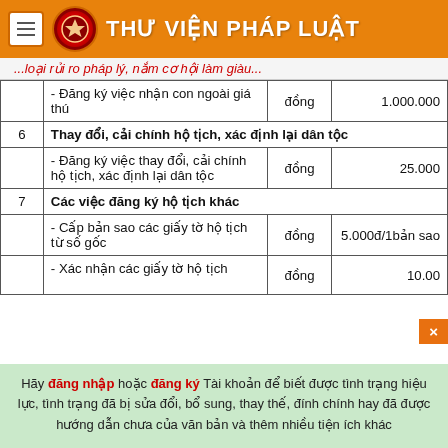THƯ VIỆN PHÁP LUẬT
...loại rủi ro pháp lý, nắm cơ hội làm giàu...
| STT | Nội dung | Đơn vị | Mức thu |
| --- | --- | --- | --- |
|  | - Đăng ký việc nhận con ngoài giá thú | đồng | 1.000.000 |
| 6 | Thay đổi, cải chính hộ tịch, xác định lại dân tộc |  |  |
|  | - Đăng ký việc thay đổi, cải chính hộ tịch, xác định lại dân tộc | đồng | 25.000 |
| 7 | Các việc đăng ký hộ tịch khác |  |  |
|  | - Cấp bản sao các giấy tờ hộ tịch từ số gốc | đồng | 5.000đ/1bản sao |
|  | - Xác nhận các giấy tờ hộ tịch | đồng | 10.00... |
Hãy đăng nhập hoặc đăng ký Tài khoản để biết được tình trạng hiệu lực, tình trạng đã bị sửa đổi, bổ sung, thay thế, đính chính hay đã được hướng dẫn chưa của văn bản và thêm nhiều tiện ích khác